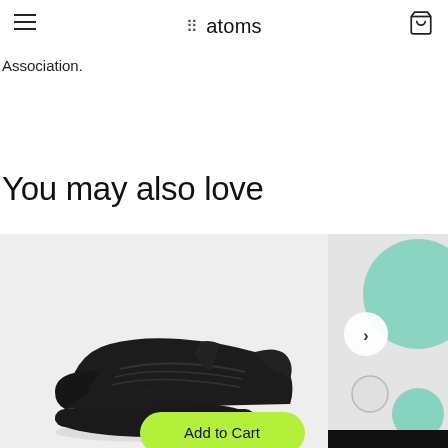atoms
Association.
You may also love
[Figure (photo): Black knit sneaker on light gray background with a bright yellow-green 'Add to Cart' button overlaid at the bottom center]
[Figure (photo): Partial view of a second product card showing a right-arrow navigation button and color swatches (white/gray and mint green circles), with a black bar at the bottom]